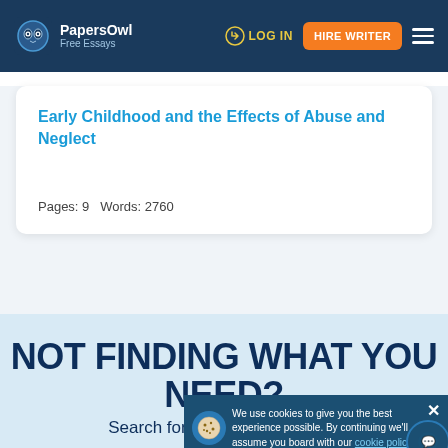PapersOwl Free Essays | LOG IN | HIRE WRITER
Early Childhood and the Effects of Abuse and Neglect
Pages: 9  Words: 2760
NOT FINDING WHAT YOU NEED?
Search for essay samples now
We use cookies to give you the best experience possible. By continuing we'll assume you board with our cookie policy.